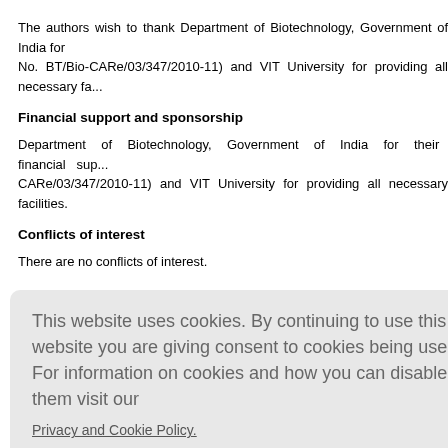The authors wish to thank Department of Biotechnology, Government of India for financial support (Grant No. BT/Bio-CARe/03/347/2010-11) and VIT University for providing all necessary fa...
Financial support and sponsorship
Department of Biotechnology, Government of India for their financial sup... (BT/Bio-CARe/03/347/2010-11) and VIT University for providing all necessary facilities.
Conflicts of interest
There are no conflicts of interest.
[Figure (screenshot): Cookie consent overlay dialog with message about cookies, a link to Privacy and Cookie Policy, and an AGREE & PROCEED red button.]
...ivities of se...
...of a new sp... Type 2 (no...
...se inhibitor...
plants. BMC Complement Altern Med 2011,11:3.